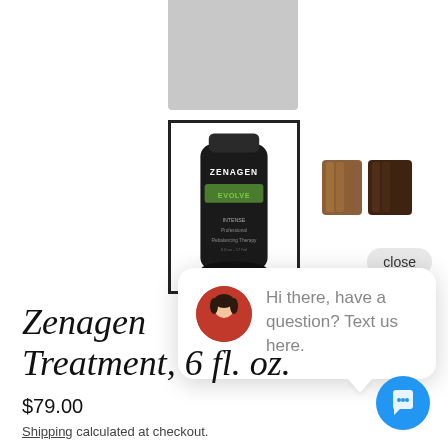[Figure (photo): Partial gray product image at top center, cropped]
[Figure (photo): Zenagen treatment tube product thumbnail with black packaging and green logo, bordered in black]
[Figure (photo): Two hair swatch color thumbnails showing brown hair tones]
close
Hi there, have a question? Text us here.
Zenagen Treatment, 6 fl. oz.
$79.00
Shipping calculated at checkout.